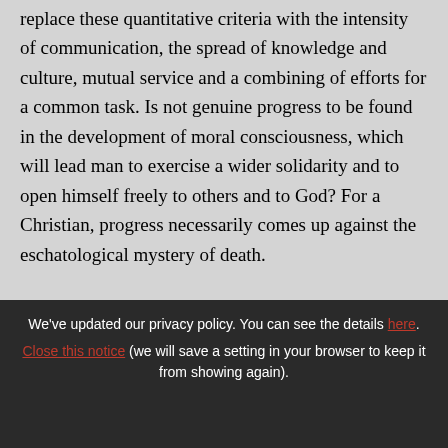forces and interests, man today wishes to replace these quantitative criteria with the intensity of communication, the spread of knowledge and culture, mutual service and a combining of efforts for a common task. Is not genuine progress to be found in the development of moral consciousness, which will lead man to exercise a wider solidarity and to open himself freely to others and to God? For a Christian, progress necessarily comes up against the eschatological mystery of death.
We've updated our privacy policy. You can see the details here. Close this notice (we will save a setting in your browser to keep it from showing again).